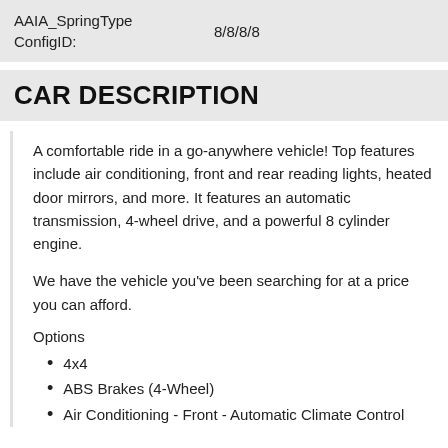| AAIA_SpringType ConfigID: | 8/8/8/8 |
CAR DESCRIPTION
A comfortable ride in a go-anywhere vehicle! Top features include air conditioning, front and rear reading lights, heated door mirrors, and more. It features an automatic transmission, 4-wheel drive, and a powerful 8 cylinder engine.
We have the vehicle you've been searching for at a price you can afford.
Options
4x4
ABS Brakes (4-Wheel)
Air Conditioning - Front - Automatic Climate Control